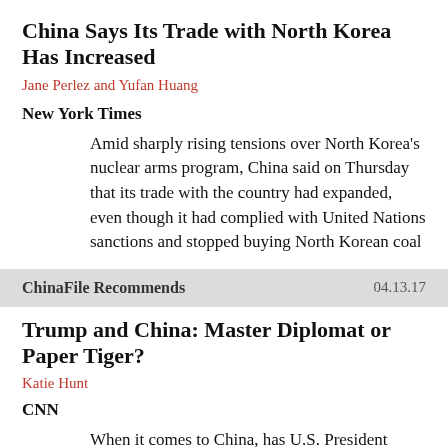China Says Its Trade with North Korea Has Increased
Jane Perlez and Yufan Huang
New York Times
Amid sharply rising tensions over North Korea's nuclear arms program, China said on Thursday that its trade with the country had expanded, even though it had complied with United Nations sanctions and stopped buying North Korean coal
ChinaFile Recommends 04.13.17
Trump and China: Master Diplomat or Paper Tiger?
Katie Hunt
CNN
When it comes to China, has U.S. President Donald Trump played a diplomatic master stroke? Not so fast, say analysts who are quick to puncture hopes of budding bromance between the leaders of the two